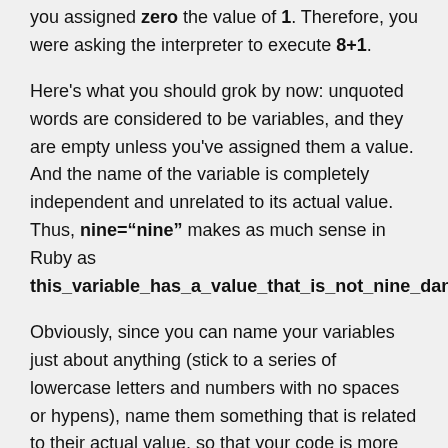you assigned zero the value of 1. Therefore, you were asking the interpreter to execute 8+1.
Here's what you should grok by now: unquoted words are considered to be variables, and they are empty unless you've assigned them a value. And the name of the variable is completely independent and unrelated to its actual value. Thus, nine="nine" makes as much sense in Ruby as this_variable_has_a_value_that_is_not_nine_dang_it="nine"
Obviously, since you can name your variables just about anything (stick to a series of lowercase letters and numbers with no spaces or hypens), name them something that is related to their actual value, so that your code is more readable.
At this point, we've run through a lot of programming concepts. But if you don't understand how the above examples, and the